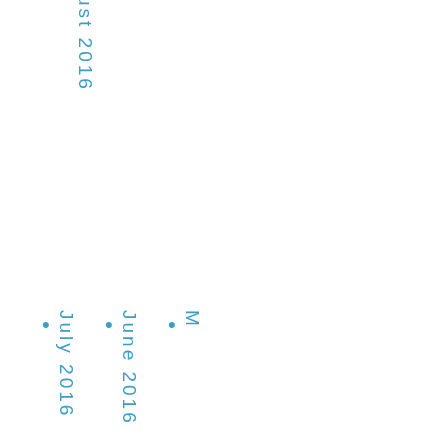ust 2016
July 2016
June 2016
M...